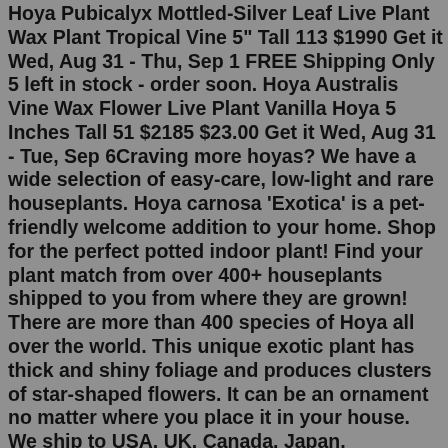Hoya Pubicalyx Mottled-Silver Leaf Live Plant Wax Plant Tropical Vine 5" Tall 113 $1990 Get it Wed, Aug 31 - Thu, Sep 1 FREE Shipping Only 5 left in stock - order soon. Hoya Australis Vine Wax Flower Live Plant Vanilla Hoya 5 Inches Tall 51 $2185 $23.00 Get it Wed, Aug 31 - Tue, Sep 6Craving more hoyas? We have a wide selection of easy-care, low-light and rare houseplants. Hoya carnosa 'Exotica' is a pet-friendly welcome addition to your home. Shop for the perfect potted indoor plant! Find your plant match from over 400+ houseplants shipped to you from where they are grown! There are more than 400 species of Hoya all over the world. This unique exotic plant has thick and shiny foliage and produces clusters of star-shaped flowers. It can be an ornament no matter where you place it in your house. We ship to USA, UK, Canada, Japan, Singapore, S. Korea, India and many other countries. Craving more hoyas? We have a wide selection of easy-care, low-light and rare houseplants. Hoya carnosa 'Exotica' is a pet-friendly welcome